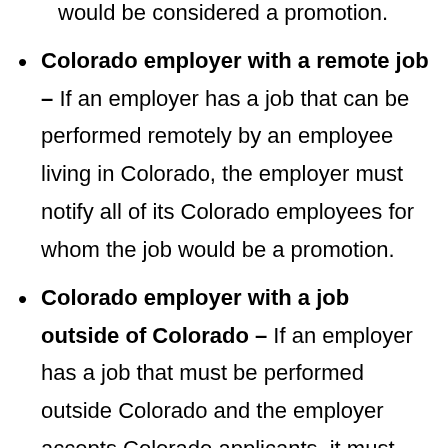would be considered a promotion.
Colorado employer with a remote job – If an employer has a job that can be performed remotely by an employee living in Colorado, the employer must notify all of its Colorado employees for whom the job would be a promotion.
Colorado employer with a job outside of Colorado – If an employer has a job that must be performed outside Colorado and the employer accepts Colorado applicants, it must notify all Colorado employees for